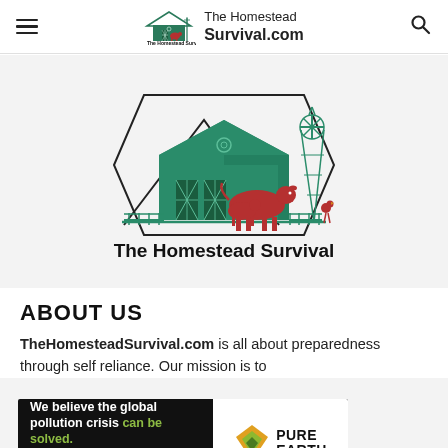The Homestead Survival.com
[Figure (logo): The Homestead Survival logo — green barn with red cow, smaller animal, windmill, fencing, and text 'The Homestead Survival' below in bold black on white background inside a hexagonal border]
ABOUT US
TheHomesteadSurvival.com is all about preparedness through self reliance. Our mission is to
[Figure (infographic): Pure Earth advertisement banner: black background on left with white bold text 'We believe the global pollution crisis can be solved.' with 'can be solved.' in green; right sub-panel white background with Pure Earth diamond logo in gold/green and bold text 'PURE EARTH'; center text in gray: 'In a world where pollution doesn't stop at borders, we can all be part of the solution. JOIN US.' with JOIN US in yellow]